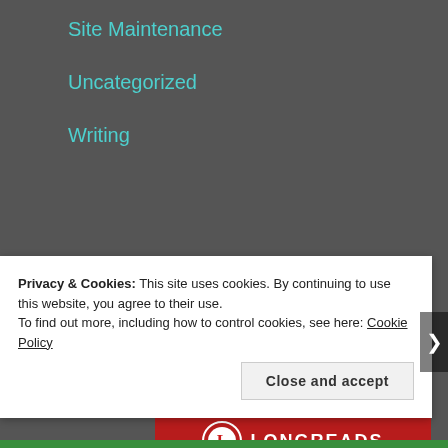Site Maintenance
Uncategorized
Writing
Advertisements
[Figure (illustration): Longreads advertisement on red background with logo and text: The best stories on the web – ours, and]
Privacy & Cookies: This site uses cookies. By continuing to use this website, you agree to their use.
To find out more, including how to control cookies, see here: Cookie Policy
Close and accept